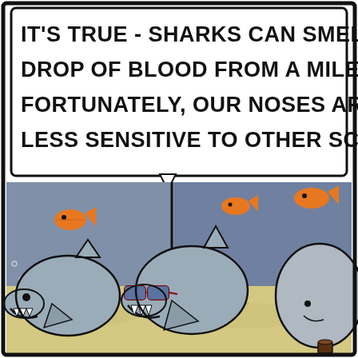[Figure (illustration): A comic strip panel showing sharks underwater. At the top is a speech bubble reading: IT'S TRUE - SHARKS CAN SMELL A DROP OF BLOOD FROM A MILE AWAY. FORTUNATELY, OUR NOSES ARE MUCH LESS SENSITIVE TO OTHER SCENTS. Below the speech bubble is an underwater scene with a dark blue/grey water background and sandy yellow bottom. Several small orange fish swim in the water. Three sharks are visible: one on the left grinning with visible teeth, one in the middle wearing red-framed sunglasses with blue lenses and smiling slyly, and one on the right partially visible as a grey rounded shape. The scene is drawn in a cartoon comic style with black outlines.]